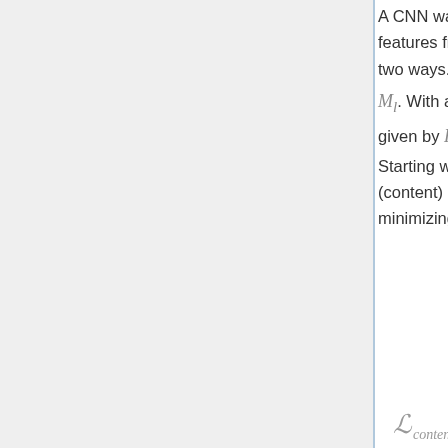A CNN was chosen due to its ability to extract high level features from images. These features can be interpreted in two ways. Within layer l there are N_l features maps of size M_l. With a particular input image, the feature maps are given by F^l_{i,j} where i and j locate the map within the layer. Starting with a white noise image and an reference (content) image, the features can be transferred by minimizing
where P_{i,j} denotes the feature map output caused by the white noise image. Therefore this loss function preserves the content of the reference image. The style is described using a Gram matrix given by